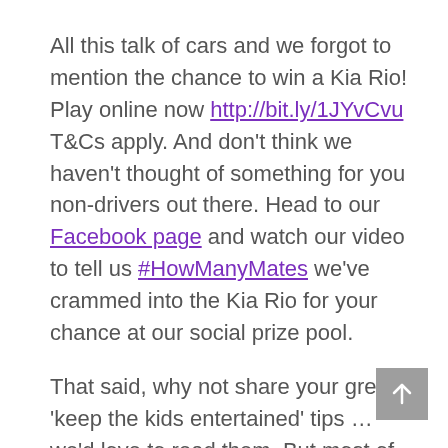All this talk of cars and we forgot to mention the chance to win a Kia Rio! Play online now http://bit.ly/1JYvCvu T&Cs apply. And don't think we haven't thought of something for you non-drivers out there. Head to our Facebook page and watch our video to tell us #HowManyMates we've crammed into the Kia Rio for your chance at our social prize pool.
That said, why not share your great 'keep the kids entertained' tips … we'd love to read them. But most of all remember this, you can get through it, we believe in you!